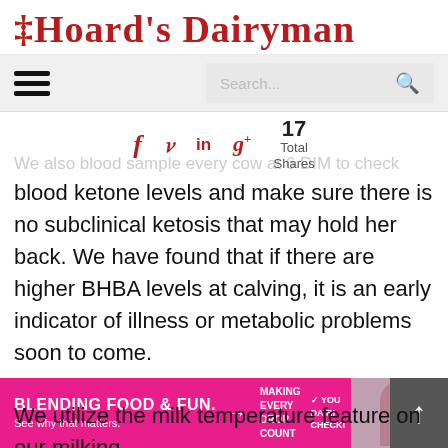[Figure (logo): Hoard's Dairyman magazine logo in red serif gothic font]
[Figure (screenshot): Navigation bar with hamburger menu and search box]
[Figure (infographic): Social share icons: Facebook, Twitter, LinkedIn, Google+, and 17 Total Shares counter]
We also blood sample every cow at 6 DIM to check blood ketone levels and make sure there is no subclinical ketosis that may hold her back. We have found that if there are higher BHBA levels at calving, it is an early indicator of illness or metabolic problems soon to come.
We utilize the milk temperature feature on our milking
[Figure (infographic): Pink advertisement banner: BLENDING FOOD & FUN. See why that matters. MAKING EVERY DROP COUNT. YOUR DAIRY CHECKOFF. With scroll-up button.]